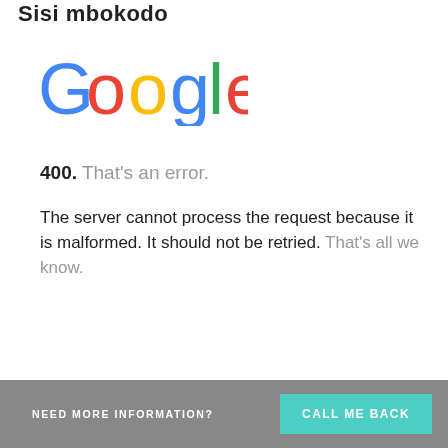Sisi mbokodo
[Figure (logo): Google logo in multicolor letters]
400. That's an error.
The server cannot process the request because it is malformed. It should not be retried. That's all we know.
NEED MORE INFORMATION?  CALL ME BACK